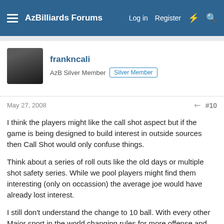AzBilliards Forums   Log in   Register
frankncali
AzB Silver Member   Silver Member
May 27, 2008   #10
I think the players might like the call shot aspect but if the game is being designed to build interest in outside sources then Call Shot would only confuse things.
Think about a series of roll outs like the old days or multiple shot safety series. While we pool players might find them interesting (only on occassion) the average joe would have already lost interest.
I still don't understand the change to 10 ball. With every other Major sport in the world changing rules for more offense and for the fans how is 10 ball going to add anything.